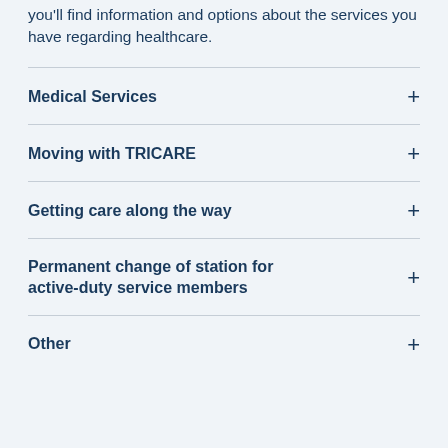you'll find information and options about the services you have regarding healthcare.
Medical Services
Moving with TRICARE
Getting care along the way
Permanent change of station for active-duty service members
Other